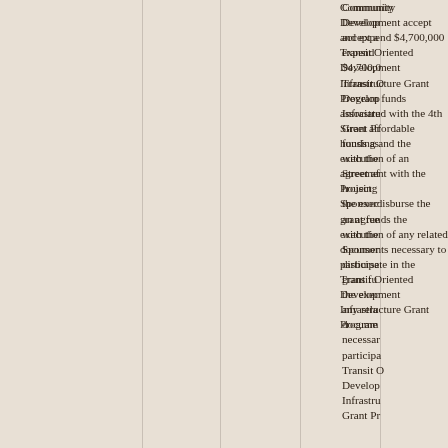Community Development accept and expend $4,700,000 Transit Oriented Development Infrastructure Grant Program funds associated with the 4th Street affordable housing project, the execution of an agreement with the Project Sponsor to disburse the grant funds, and the execution of any related documents necessary to participate in the Transit Oriented Development Infrastructure Grant Program